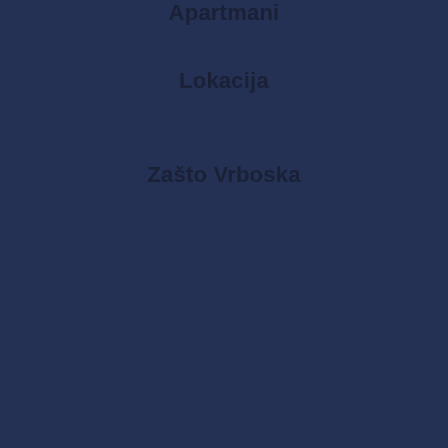Apartmani
Lokacija
Zašto Vrboska